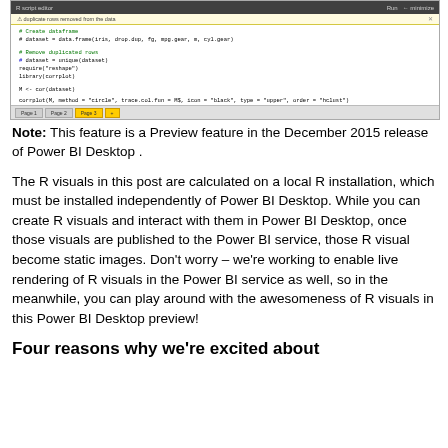[Figure (screenshot): R script editor window in Power BI Desktop showing code with a yellow warning banner about duplicate rows removed from the data, and code lines for creating a dataframe, removing duplicate rows, and using cor.test. Bottom shows Page1, Page2, Page3 tabs.]
Note: This feature is a Preview feature in the December 2015 release of Power BI Desktop .
The R visuals in this post are calculated on a local R installation, which must be installed independently of Power BI Desktop. While you can create R visuals and interact with them in Power BI Desktop, once those visuals are published to the Power BI service, those R visual become static images. Don’t worry – we’re working to enable live rendering of R visuals in the Power BI service as well, so in the meanwhile, you can play around with the awesomeness of R visuals in this Power BI Desktop preview!
Four reasons why we’re excited about the use of R Visuals